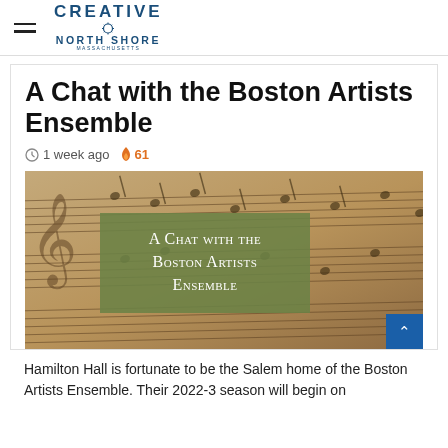Creative North Shore Massachusetts
A Chat with the Boston Artists Ensemble
1 week ago  61
[Figure (photo): Sheet music background with a green semi-transparent overlay box containing the text 'A Chat with the Boston Artists Ensemble' in small-caps serif font. A blue scroll-to-top button appears at bottom right.]
Hamilton Hall is fortunate to be the Salem home of the Boston Artists Ensemble. Their 2022-3 season will begin on